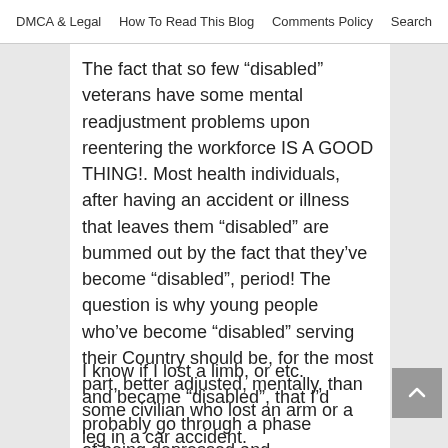DMCA & Legal   How To Read This Blog   Comments Policy   Search
The fact that so few “disabled” veterans have some mental readjustment problems upon reentering the workforce IS A GOOD THING!. Most health individuals, after having an accident or illness that leaves them “disabled” are bummed out by the fact that they’ve become “disabled”, period! The question is why young people who’ve become “disabled” serving their Country should be, for the most part, better adjusted, mentally, than some civilian who lost an arm or a leg in a car accident.
I know if I lost a limb, or etc. and became “disabled”, that I’d probably go through a phase of being depressed and taciturn